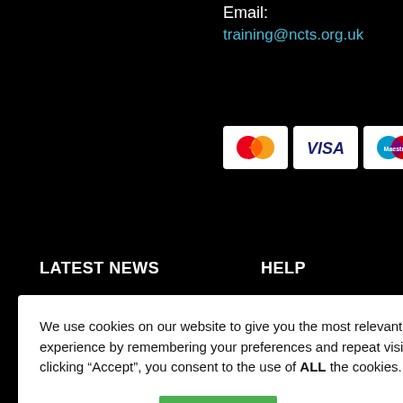Email:
training@ncts.org.uk
[Figure (other): Payment card logos: Mastercard, VISA, Maestro]
LATEST NEWS
HELP
We use cookies on our website to give you the most relevant experience by remembering your preferences and repeat visits. By clicking “Accept”, you consent to the use of ALL the cookies.
Cookie settings
ACCEPT
TS
Conditions
licy
Sponsor
PATHWAY
Jobs